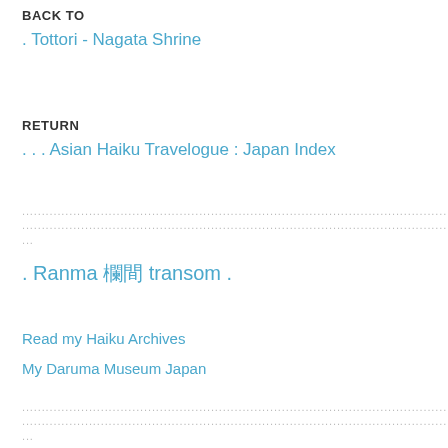BACK TO
. Tottori - Nagata Shrine
RETURN
. . . Asian Haiku Travelogue : Japan Index
...............................................................................................................
...............................................................................................................
...
. Ranma 欄間 transom .
Read my Haiku Archives
My Daruma Museum Japan
...............................................................................................................
...............................................................................................................
...